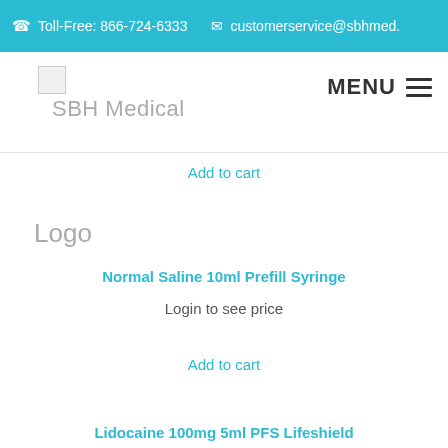Toll-Free: 866-724-6333  customerservice@sbhmed.
[Figure (logo): Small broken image placeholder icon for SBH Medical logo]
SBH Medical
MENU
Add to cart
Logo
Normal Saline 10ml Prefill Syringe
Login to see price
Add to cart
Lidocaine 100mg 5ml PFS Lifeshield